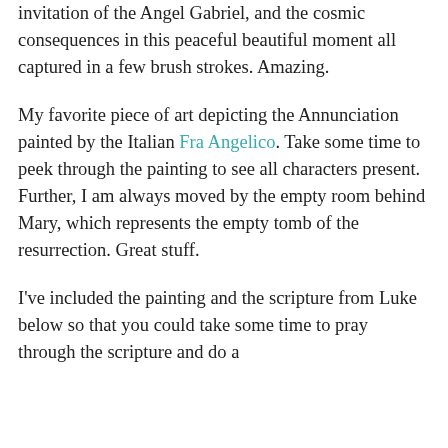invitation of the Angel Gabriel, and the cosmic consequences in this peaceful beautiful moment all captured in a few brush strokes. Amazing.
My favorite piece of art depicting the Annunciation painted by the Italian Fra Angelico. Take some time to peek through the painting to see all characters present. Further, I am always moved by the empty room behind Mary, which represents the empty tomb of the resurrection. Great stuff.
I've included the painting and the scripture from Luke below so that you could take some time to pray through the scripture and do a